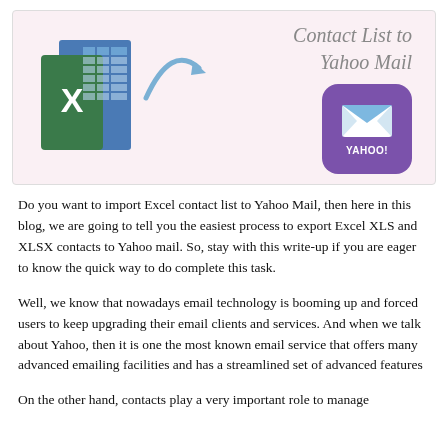[Figure (illustration): Banner image showing an Excel spreadsheet icon with an arrow pointing to a Yahoo Mail icon (purple with envelope). Title text reads 'Contact List to Yahoo Mail' in italic gray. Pink background.]
Do you want to import Excel contact list to Yahoo Mail, then here in this blog, we are going to tell you the easiest process to export Excel XLS and XLSX contacts to Yahoo mail. So, stay with this write-up if you are eager to know the quick way to do complete this task.
Well, we know that nowadays email technology is booming up and forced users to keep upgrading their email clients and services. And when we talk about Yahoo, then it is one the most known email service that offers many advanced emailing facilities and has a streamlined set of advanced features
On the other hand, contacts play a very important role to manage